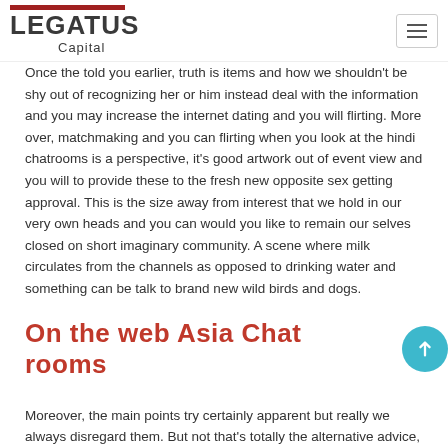Legatus Capital
Once the told you earlier, truth is items and how we shouldn't be shy out of recognizing her or him instead deal with the information and you may increase the internet dating and you will flirting. More over, matchmaking and you can flirting when you look at the hindi chatrooms is a perspective, it's good artwork out of event view and you will to provide these to the fresh new opposite sex getting approval. This is the size away from interest that we hold in our very own heads and you can would you like to remain our selves closed on short imaginary community. A scene where milk circulates from the channels as opposed to drinking water and something can be talk to brand new wild birds and dogs.
On the web Asia Chat rooms
Moreover, the main points try certainly apparent but really we always disregard them. But not that's totally the alternative advice,